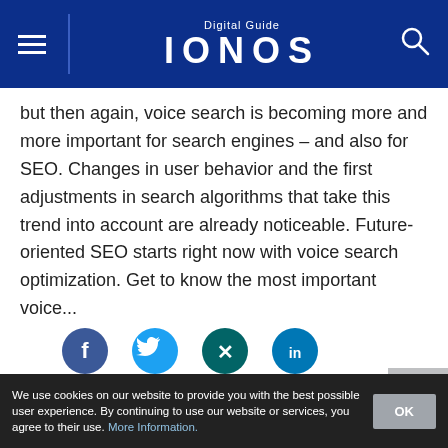Digital Guide IONOS
but then again, voice search is becoming more and more important for search engines – and also for SEO. Changes in user behavior and the first adjustments in search algorithms that take this trend into account are already noticeable. Future-oriented SEO starts right now with voice search optimization. Get to know the most important voice...
[Figure (infographic): Social share buttons: Facebook (dark blue circle with f), Twitter (light blue circle with bird icon), Xing (teal circle with X), LinkedIn (dark blue circle with in)]
[Figure (photo): Blurred photo showing digital/technology imagery with search and settings icons visible]
We use cookies on our website to provide you with the best possible user experience. By continuing to use our website or services, you agree to their use. More Information.